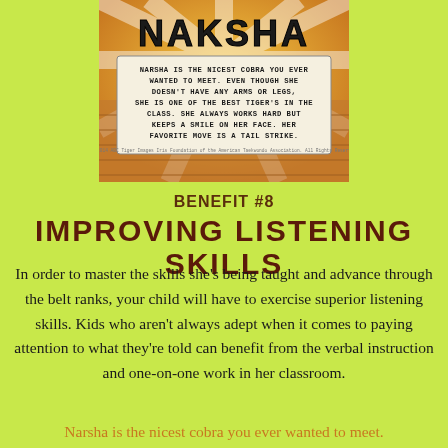[Figure (illustration): Comic-style card featuring 'NAKSHA' title in bold comic font at top with radiating sunburst background in orange/brown tones. Below the title is a text box with comic-style lettering describing Narsha as a cobra character who is one of the best tigers in the class. Small copyright text at bottom of card.]
BENEFIT #8
IMPROVING LISTENING SKILLS
In order to master the skills she's being taught and advance through the belt ranks, your child will have to exercise superior listening skills. Kids who aren't always adept when it comes to paying attention to what they're told can benefit from the verbal instruction and one-on-one work in her classroom.
Narsha is the nicest cobra you ever wanted to meet.